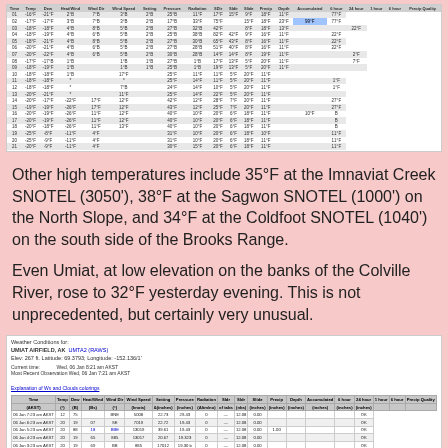| Time | Temp | Dew | Heat/Wind | Wind Dir | Wind Speed | Setting | Pressure | Radiation | SDir | Sldir | Slide | Precip | Depth | Accumulated | 6 hour | 24 hour | 1 hour | 6 hour | Precip Quality |
| --- | --- | --- | --- | --- | --- | --- | --- | --- | --- | --- | --- | --- | --- | --- | --- | --- | --- | --- | --- |
| 01 | -16°F | -21°F | 2°B | 7°B | 3°B | 2°B | 25°B | 11°F | 17°F | 15°F | 9°F | 18°F | 11°F |  | 77°F |
| 02 | -17°F | -17°F | 3°B | 7°B | 3°B | 2°B | 17°B | 33°F | 75°F |  | 15°F | 18°F | 23°F | 99°F | 77°F |
| 03 | -18°F | -18°F | 4°B | 8°B | 5°B | 2°B | 27°B | 32°B | 42°F |  | 8°F | 18°F | 13°F |  |  | 22°F |
Other high temperatures include 35°F at the Imnaviat Creek SNOTEL (3050'), 38°F at the Sagwon SNOTEL (1000') on the North Slope, and 34°F at the Coldfoot SNOTEL (1040') on the south side of the Brooks Range.
Even Umiat, at low elevation on the banks of the Colville River, rose to 32°F yesterday evening.  This is not unprecedented, but certainly very unusual.
| Time | Temp | Dew | Heat/Wind | Wind Dir | Wind Speed | Setting | Pressure | Radiation | Sldr | Sldr | Slide | Precip | Depth | Accumulated | 6 hour | 24 hour | 1 hour | 6 hour | Precip Quality |
| --- | --- | --- | --- | --- | --- | --- | --- | --- | --- | --- | --- | --- | --- | --- | --- | --- | --- | --- | --- |
| 06 Jan 7:23 am AKST | 12 | 75 |  | BNE | 5008 | 22.73 | 29.43 | 0 | — | 12.08 | 0.00 |  |  |  |  | OK |
| 06 Jan 6:23 am AKST | 20 | 19 | 07 | SE | 7019 | 22.72 | 19.43 | 0 | — | 12.08 | 0.00 |  |  |  |  | OK |
| 06 Jan 5:23 am AKST | 20 | 88 | 18 | BBE | 13019 | 39.61 | 19.43 | 0 | — | 12.08 | 0.00 | 1.00 |  |  |  | OK |
| 06 Jan 4:23 am AKST | 20 | 19 | 65 | 885 | 13017 | 20.67 | 19.323 | 0 | — | 12.08 | 0.00 |  |  |  |  | OK |
| 06 Jan 3:23 am AKST | 20 | 19 | 69 | BB | 885 | 17012 | 19.30 b | 0 | — | 12.08 | 0.00 |  |  |  |  | OK |